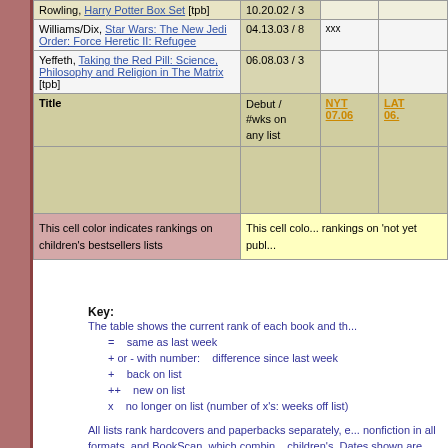| Title | Debut / #wks on any list | NYT 07.06 | LAT 06... |
| --- | --- | --- | --- |
| Rowling, Harry Potter Box Set [tpb] | 10.20.02 / 3 |  |  |
| Williams/Dix, Star Wars: The New Jedi Order: Force Heretic II: Refugee | 04.13.03 / 8 | xxx |  |
| Yeffeth, Taking the Red Pill: Science, Philosophy and Religion in The Matrix [tpb] | 06.08.03 / 3 |  |  |
| Title | Debut / #wks on any list | NYT 07.06 | LAT 06... |
| This cell color indicates rankings on children's bestsellers lists | This cell color rankings on 'not yet publ... |  |  |
Key: The table shows the current rank of each book and th... = same as last week + or - with number: difference since last week + back on list ++ new on list x no longer on list (number of x's: weeks off list)
All lists rank hardcovers and paperbacks separately, e... nonfiction in all formats, and BookScan, which combin... children's. Dates shown are posted dates, except tho... list one week in advance of print publication.
Note that some sources do not compile paperback be... their hardcover and paperback fiction lists.